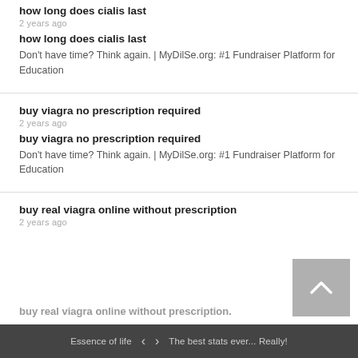how long does cialis last
2 years ago
how long does cialis last
Don't have time? Think again. | MyDilSe.org: #1 Fundraiser Platform for Education
buy viagra no prescription required
2 years ago
buy viagra no prescription required
Don't have time? Think again. | MyDilSe.org: #1 Fundraiser Platform for Education
buy real viagra online without prescription
2 years ago
buy real viagra online without prescription.
Essence of life   <   >   The best stats ever... Really!